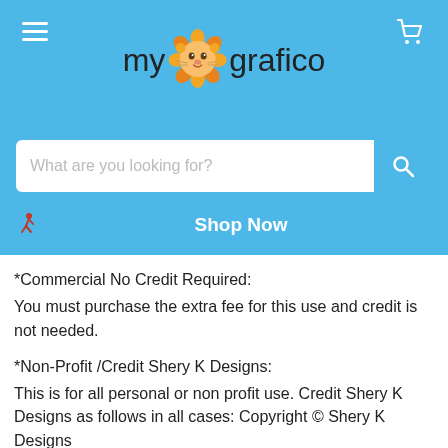[Figure (screenshot): mygrafico website header with blue background, hamburger menu icon, cart icon, lion logo, search bar, and Shop Now button]
*Commercial No Credit Required:
You must purchase the extra fee for this use and credit is not needed.
*Non-Profit /Credit Shery K Designs:
This is for all personal or non profit use. Credit Shery K Designs as follows in all cases: Copyright © Shery K Designs
IN ALL CASES:
You may NOT: